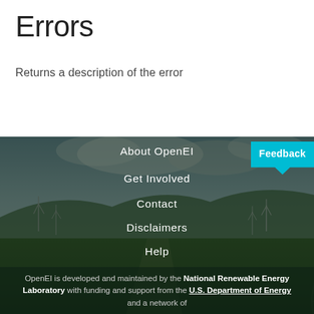Errors
Returns a description of the error
[Figure (photo): Background photo of a wind farm with green fields and cloudy sky]
About OpenEI
Get Involved
Contact
Disclaimers
Help
Print Page
Special Pages
Upload File
Developer Services
OpenEI is developed and maintained by the National Renewable Energy Laboratory with funding and support from the U.S. Department of Energy and a network of